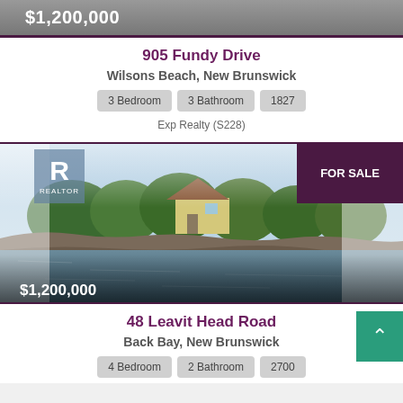$1,200,000
905 Fundy Drive
Wilsons Beach, New Brunswick
3 Bedroom
3 Bathroom
1827
Exp Realty (S228)
[Figure (photo): Waterfront property photo showing a yellow house on rocky shoreline with trees, FOR SALE badge in top-right, REALTOR logo in top-left, price overlay $1,200,000 at bottom]
48 Leavit Head Road
Back Bay, New Brunswick
4 Bedroom
2 Bathroom
2700